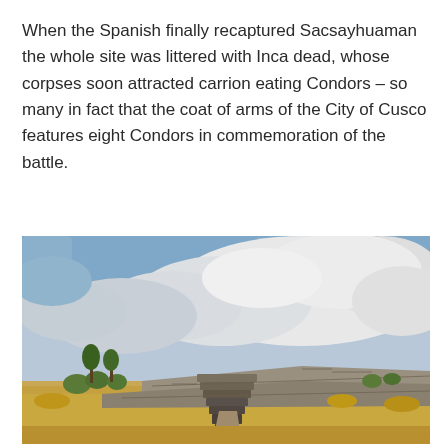When the Spanish finally recaptured Sacsayhuaman the whole site was littered with Inca dead, whose corpses soon attracted carrion eating Condors – so many in fact that the coat of arms of the City of Cusco features eight Condors in commemoration of the battle.
[Figure (photo): Landscape photograph of the Sacsayhuaman Inca fortress ruins in Cusco, Peru. Large stone terraced walls and steps visible in the foreground on dry golden grassland with small shrubs and trees. Dramatic overcast sky with large billowing white and grey clouds occupying the upper portion of the image.]